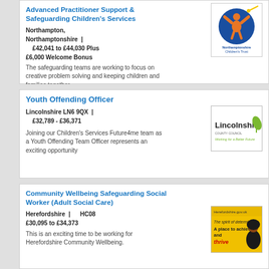Advanced Practitioner Support & Safeguarding Children's Services
Northampton, Northamptonshire | £42,041 to £44,030 Plus £6,000 Welcome Bonus
[Figure (logo): Northamptonshire Children's Trust logo — orange figure with arms raised, blue circle background, yellow shooting star]
The safeguarding teams are working to focus on creative problem solving and keeping children and families together.
Youth Offending Officer
Lincolnshire LN6 9QX | £32,789 - £36,371
[Figure (logo): Lincolnshire County Council logo — green tree leaf, text 'Lincolnshire County Council Working for a Better Future']
Joining our Children's Services Future4me team as a Youth Offending Team Officer represents an exciting opportunity
Community Wellbeing Safeguarding Social Worker (Adult Social Care)
Herefordshire | HC08 £30,095 to £34,373
[Figure (logo): Herefordshire.gov.uk logo — yellow background with text 'A place to achieve and thrive', woman with afro hair]
This is an exciting time to be working for Herefordshire Community Wellbeing.